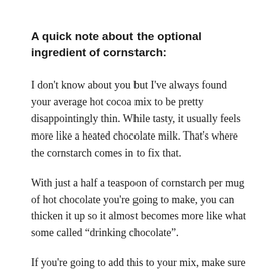A quick note about the optional ingredient of cornstarch:
I don't know about you but I've always found your average hot cocoa mix to be pretty disappointingly thin. While tasty, it usually feels more like a heated chocolate milk. That's where the cornstarch comes in to fix that.
With just a half a teaspoon of cornstarch per mug of hot chocolate you're going to make, you can thicken it up so it almost becomes more like what some called “drinking chocolate”.
If you're going to add this to your mix, make sure you stir it continuously while you're heating it up, or else you'll end up with some gummy clumps at the bottom of your cup.